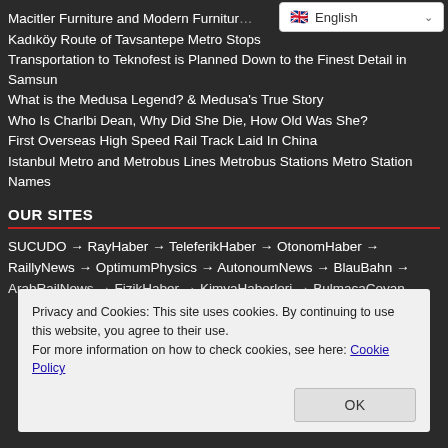Macitler Furniture and Modern Furnitur…
Kadıköy Route of Tavsantepe Metro Stops
Transportation to Teknofest is Planned Down to the Finest Detail in Samsun
What is the Medusa Legend? & Medusa's True Story
Who Is Charlbi Dean, Why Did She Die, How Old Was She?
First Overseas High Speed Rail Track Laid In China
Istanbul Metro and Metrobus Lines Metrobus Stations Metro Station Names
OUR SITES
SUCUDO → RayHaber → TeleferikHaber → OtonomHaber → RaillyNews → OptimumPhysics → AutonoumNews → BlauBahn → ArabRailNews → FizikHaber → KimyaHaberleri → BulmacaCoyan
Privacy and Cookies: This site uses cookies. By continuing to use this website, you agree to their use.
For more information on how to check cookies, see here: Cookie Policy